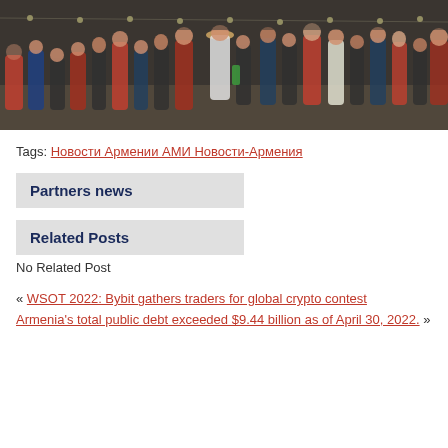[Figure (photo): Aerial/elevated view of a crowded outdoor event or market at night with string lights, many people walking around.]
Tags: Новости Армении АМИ Новости-Армения
Partners news
Related Posts
No Related Post
« WSOT 2022: Bybit gathers traders for global crypto contest
Armenia's total public debt exceeded $9.44 billion as of April 30, 2022. »